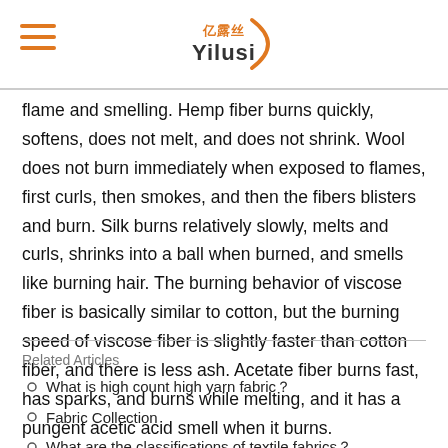Yilusi
flame and smelling. Hemp fiber burns quickly, softens, does not melt, and does not shrink. Wool does not burn immediately when exposed to flames, first curls, then smokes, and then the fibers blisters and burn. Silk burns relatively slowly, melts and curls, shrinks into a ball when burned, and smells like burning hair. The burning behavior of viscose fiber is basically similar to cotton, but the burning speed of viscose fiber is slightly faster than cotton fiber, and there is less ash. Acetate fiber burns fast, has sparks, and burns while melting, and it has a pungent acetic acid smell when it burns.
Related Articles
What is high count high yarn fabric？
Fabric Collection
What are the classifications of textile fabrics？